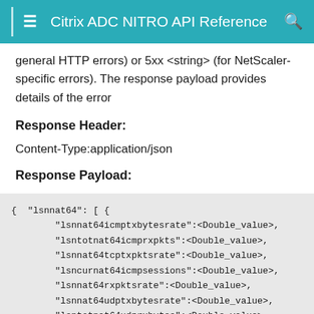Citrix ADC NITRO API Reference
general HTTP errors) or 5xx <string> (for NetScaler-specific errors). The response payload provides details of the error
Response Header:
Content-Type:application/json
Response Payload:
{ "lsnnat64": [ {
      "lsnnat64icmptxbytesrate":<Double_value>,
      "lsntotnat64icmprxpkts":<Double_value>,
      "lsnnat64tcptxpktsrate":<Double_value>,
      "lsncurnat64icmpsessions":<Double_value>,
      "lsnnat64rxpktsrate":<Double_value>,
      "lsnnat64udptxbytesrate":<Double_value>,
      "lsntotnat64udprxbytes":<Double_value>,
      "lsntotnat64rxpkts":<Double_value>,